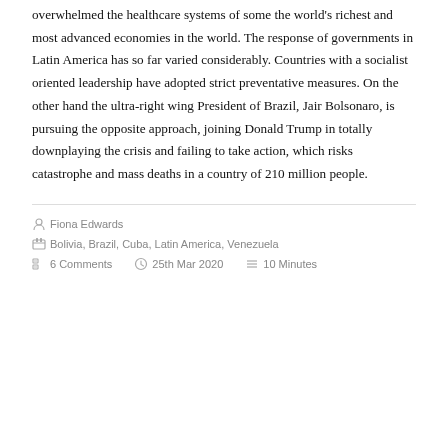overwhelmed the healthcare systems of some the world's richest and most advanced economies in the world. The response of governments in Latin America has so far varied considerably. Countries with a socialist oriented leadership have adopted strict preventative measures. On the other hand the ultra-right wing President of Brazil, Jair Bolsonaro, is pursuing the opposite approach, joining Donald Trump in totally downplaying the crisis and failing to take action, which risks catastrophe and mass deaths in a country of 210 million people.
Fiona Edwards
Bolivia, Brazil, Cuba, Latin America, Venezuela
6 Comments   25th Mar 2020   10 Minutes